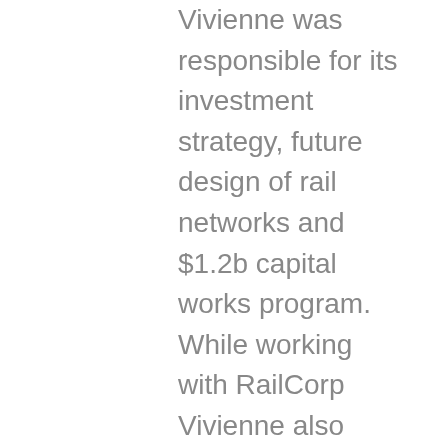Vivienne was responsible for its investment strategy, future design of rail networks and $1.2b capital works program. While working with RailCorp Vivienne also held the role of Chief Operations Officer leading 15 departments with over 8000 staff to deliver the day to day passenger services.
Vivienne has a strong interest in Public Policy and Education & Transit and has sat on many boards including the international passenger transport association (UiTP); holding the Australian & New Zealand chair for public transport; Australia's transit committee for light rail and held a seat at the table for the Queensland chapter of the Committee for Economic Development of Australia